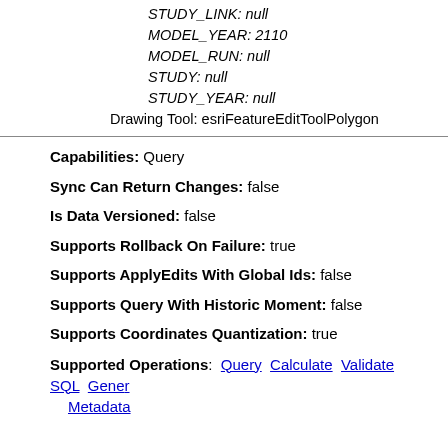STUDY_LINK: null
MODEL_YEAR: 2110
MODEL_RUN: null
STUDY: null
STUDY_YEAR: null
Drawing Tool: esriFeatureEditToolPolygon
Capabilities: Query
Sync Can Return Changes: false
Is Data Versioned: false
Supports Rollback On Failure: true
Supports ApplyEdits With Global Ids: false
Supports Query With Historic Moment: false
Supports Coordinates Quantization: true
Supported Operations: Query Calculate Validate SQL Generate Renderer Return Updates Generate Metadata